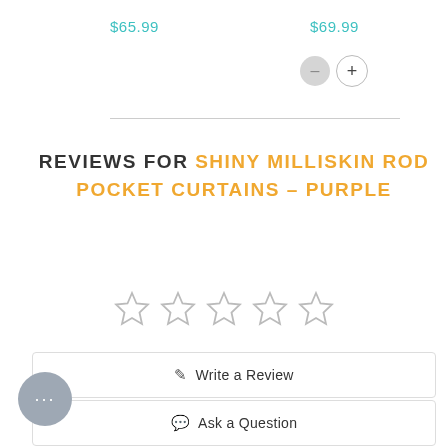$65.99
$69.99
REVIEWS FOR SHINY MILLISKIN ROD POCKET CURTAINS – PURPLE
[Figure (other): Five empty star rating icons in a row]
Write a Review
Ask a Question